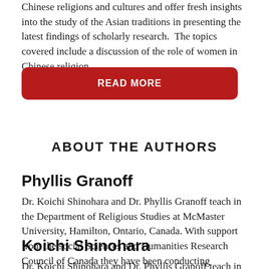Chinese religions and cultures and offer fresh insights into the study of the Asian traditions in presenting the latest findings of scholarly research.  The topics covered include a discussion of the role of women in Chinese religion
[Figure (other): Red rounded rectangle button with white bold text reading READ MORE]
ABOUT THE AUTHORS
Phyllis Granoff
Dr. Koichi Shinohara and Dr. Phyllis Granoff teach in the Department of Religious Studies at McMaster University, Hamilton, Ontario, Canada. With support from the social Sciences and Humanities Research Council of Canada they have been conducting
Koichi Shinohara
Dr. Koichi Shinohara and Dr. Phyllis Granoff teach in the Department of Religious Studies at McMaster